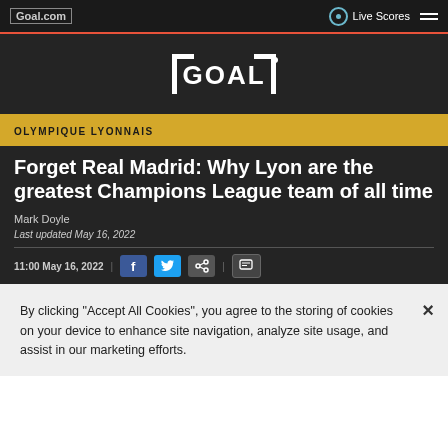Goal.com | Live Scores
[Figure (logo): GOAL logo in white on dark background]
OLYMPIQUE LYONNAIS
Forget Real Madrid: Why Lyon are the greatest Champions League team of all time
Mark Doyle
Last updated May 16, 2022
11:00 May 16, 2022 | [social share buttons]
By clicking "Accept All Cookies", you agree to the storing of cookies on your device to enhance site navigation, analyze site usage, and assist in our marketing efforts.